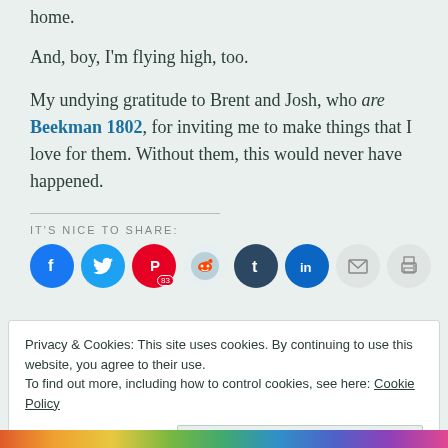home.
And, boy, I'm flying high, too.
My undying gratitude to Brent and Josh, who are Beekman 1802, for inviting me to make things that I love for them. Without them, this would never have happened.
IT'S NICE TO SHARE:
[Figure (infographic): Social share buttons: Facebook, Twitter, Pinterest (83), Reddit, Tumblr, LinkedIn, Email, Print]
Privacy & Cookies: This site uses cookies. By continuing to use this website, you agree to their use.
To find out more, including how to control cookies, see here: Cookie Policy
Close and accept